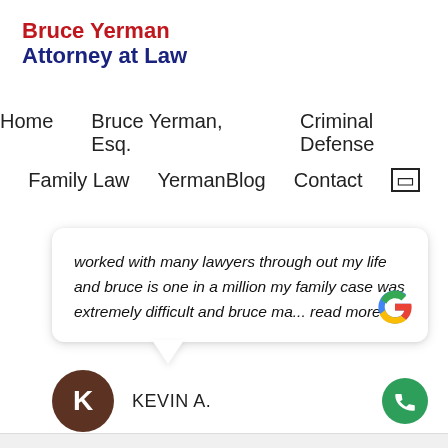Bruce Yerman Attorney at Law
Home   Bruce Yerman, Esq.   Criminal Defense
Family Law   YermanBlog   Contact
worked with many lawyers through out my life and bruce is one in a million my family case was extremely difficult and bruce ma... read more
[Figure (logo): Google 'G' logo in multicolor (red, yellow, green, blue)]
KEVIN A.
[Figure (illustration): Brown circle avatar with white letter K]
[Figure (illustration): Green circle phone call button with white phone icon]